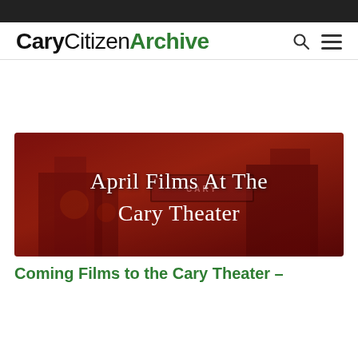CaryCitizenArchive
[Figure (photo): Red-tinted photo of the Cary Theater exterior at night with white serif text overlay reading 'April Films At The Cary Theater']
Coming Films to the Cary Theater –